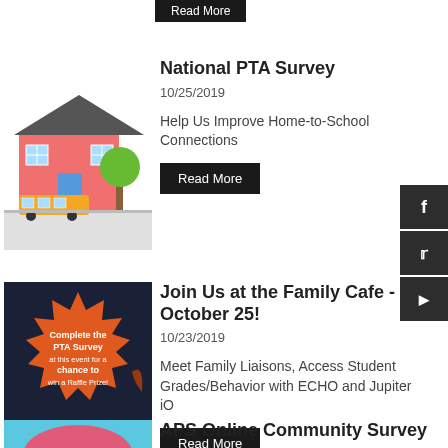[Figure (other): Partial Read More button at top of page]
National PTA Survey
10/25/2019
Help Us Improve Home-to-School Connections
[Figure (illustration): School building illustration with yellow school bus and tree]
Read More
Join Us at the Family Cafe - October 25!
10/23/2019
Meet Family Liaisons, Access Student Grades/Behavior with ECHO and Jupiter iO
[Figure (illustration): Orange starburst badge with text: Complete the PTA Survey at this event for a chance to win a Raffle Prize!]
Read More
APS Online Community Survey
[Figure (other): Partial image at bottom of page - APS survey thumbnail]